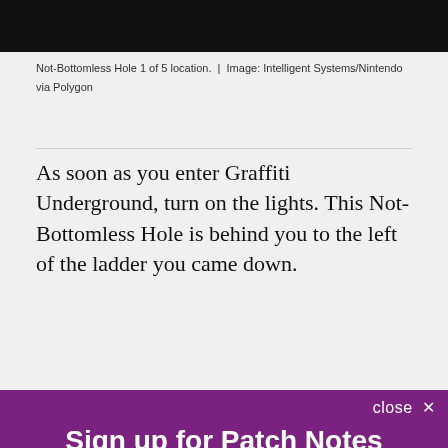[Figure (photo): Dark/black screenshot image from a video game]
Not-Bottomless Hole 1 of 5 location.  |  Image: Intelligent Systems/Nintendo via Polygon
As soon as you enter Graffiti Underground, turn on the lights. This Not-Bottomless Hole is behind you to the left of the ladder you came down.
close ✕
Sign up for Patch Notes
A weekly roundup of the best things from Polygon
Email (required)
SUBSCRIBE
By submitting your email, you agree to our Terms and Privacy Notice. You can opt out at any time. This site is protected by reCAPTCHA and the Google Privacy Policy and Terms of Service apply.